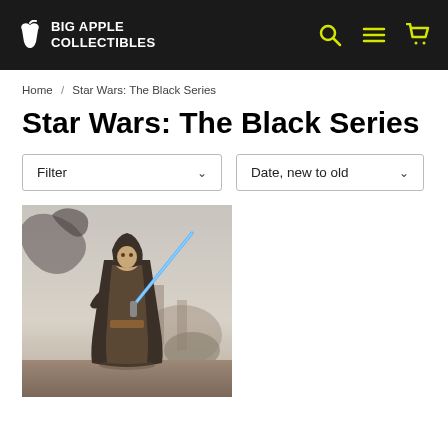BIG APPLE COLLECTIBLES
Home / Star Wars: The Black Series
Star Wars: The Black Series
Filter  Date, new to old
[Figure (photo): A Star Wars action figure of a Jedi Knight in dark robes holding a blue lightsaber, set against a misty alien landscape with large creatures in the background.]